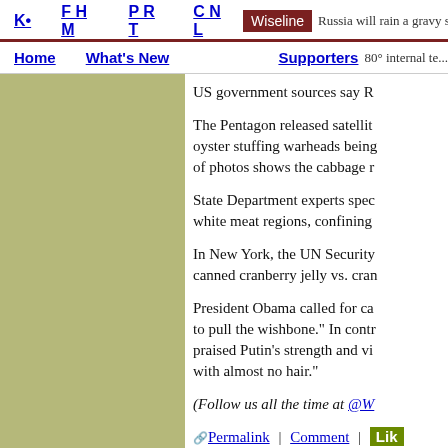K• FHM PRT CNL Wiseline | Home What's New Supporters
US government sources say R
The Pentagon released satellite photos showing oyster stuffing warheads being... of photos shows the cabbage r
State Department experts speculated about white meat regions, confining
In New York, the UN Security Council... canned cranberry jelly vs. cran
President Obama called for ca... to pull the wishbone." In contro... praised Putin's strength and vi... with almost no hair."
(Follow us all the time at @W
Permalink | Comment | Like | more!)